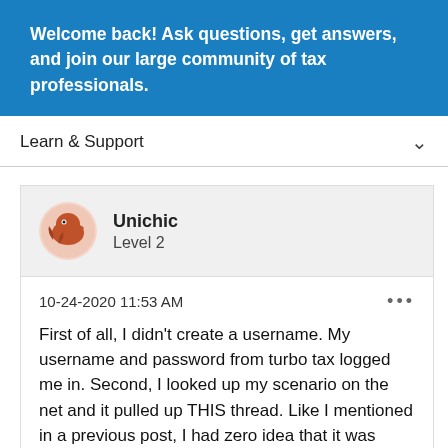Welcome back! Ask questions, get answers, and join our large community of tax professionals.
Learn & Support
[Figure (illustration): Circular avatar icon with a stylized fish or animal character in reddish-brown tones on a light pink background]
Unichic
Level 2
10-24-2020 11:53 AM
First of all, I didn't create a username. My username and password from turbo tax logged me in. Second, I looked up my scenario on the net and it pulled up THIS thread. Like I mentioned in a previous post, I had zero idea that it was taking me to this “specialized” thread. I’m pretty sure I can speak for the rest of us as well. We didn’t purposefully come on here to mess up